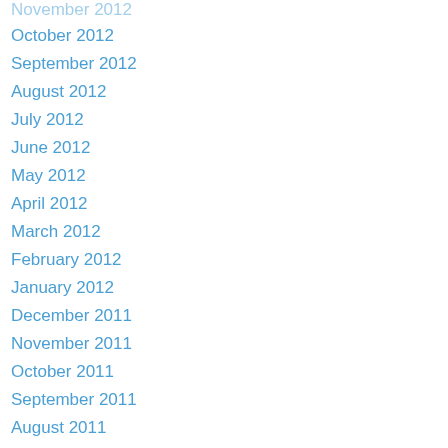November 2012
October 2012
September 2012
August 2012
July 2012
June 2012
May 2012
April 2012
March 2012
February 2012
January 2012
December 2011
November 2011
October 2011
September 2011
August 2011
July 2011
June 2011
May 2011
April 2011
Categories